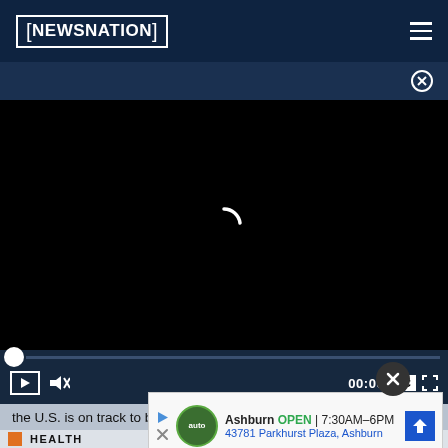NEWSNATION
[Figure (screenshot): Video player with black background showing a loading spinner arc in the center]
the U.S. is on track to bringing 350,000 manufacturing jobs back to the U.S. from overseas, and may contribute to mo...
[Figure (other): Advertisement for auto service in Ashburn, OPEN 7:30AM-6PM, 43781 Parkhurst Plaza, Ashburn]
HEALTH